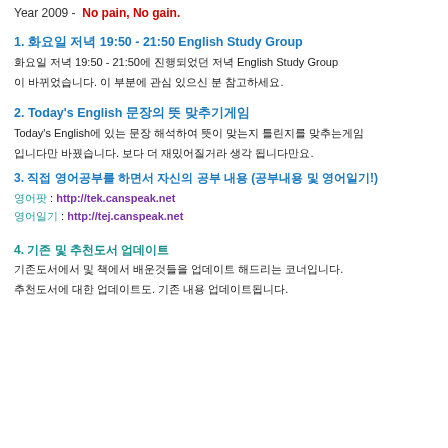Year 2009 -  No pain, No gain.
1. 화요일 저녁 19:50 - 21:50 English Study Group
화요일 저녁 19:50 - 21:50에 진행되었던 저녁 English Study Group
이 바뀌었습니다. 이 부분에 관심 있으신 분 참고하세요.
2. Today's English 문장의 뜻 맞추기게임
Today's English에 있는 문장 해석하여 뜻이 맞는지 틀린지를 맞추는게임
입니다만 바꿨습니다. 보다 더 재밌어질거라 생각 됩니다만요.
3. 직접 영어공부를 하면서 자신의 공부 내용 (공부내용 및 영어일기!)
영어팟 : http://tek.canspeak.net
영어일기 : http://tej.canspeak.net
4. 기존 및 추천도서 업데이트
기존도서에서 및 책에서 배운것들을 업데이트 해드리는 코너입니다.
추천도서에 대한 업데이트도. 기존 내용 업데이트됩니다.